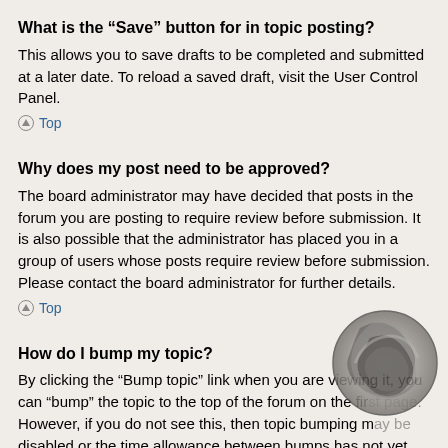What is the “Save” button for in topic posting?
This allows you to save drafts to be completed and submitted at a later date. To reload a saved draft, visit the User Control Panel.
▲ Top
Why does my post need to be approved?
The board administrator may have decided that posts in the forum you are posting to require review before submission. It is also possible that the administrator has placed you in a group of users whose posts require review before submission. Please contact the board administrator for further details.
▲ Top
How do I bump my topic?
By clicking the “Bump topic” link when you are viewing it, you can “bump” the topic to the top of the forum on the first page. However, if you do not see this, then topic bumping may be disabled or the time allowance between bumps has not yet been reached. It is also possible to bump the topic simply by